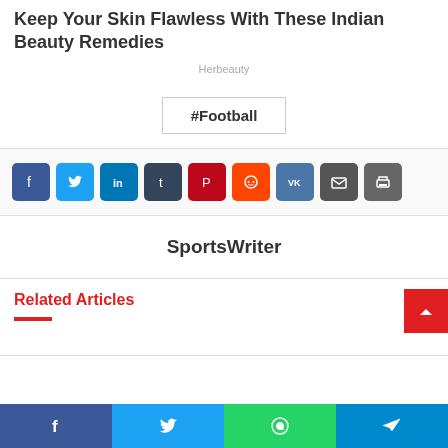Keep Your Skin Flawless With These Indian Beauty Remedies
Herbeauty
#Football
[Figure (other): Social share buttons row: Facebook, Twitter, LinkedIn, Tumblr, Pinterest, Reddit, VK, Email, Print]
SportsWriter
Related Articles
[Figure (other): Bottom share bar with Facebook, Twitter, WhatsApp, Telegram buttons]